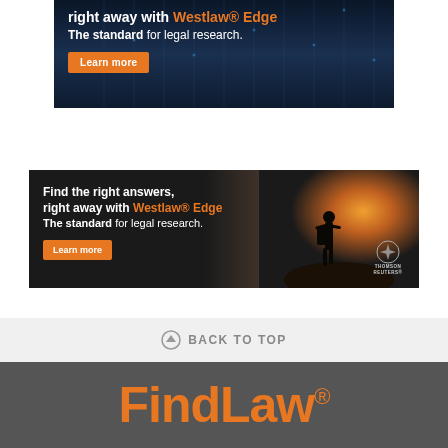[Figure (illustration): Westlaw Edge advertisement banner (top, partial): dark blue background with digital lines, text 'right away with Westlaw Edge / The standard for legal research.' and orange 'Learn more' button]
[Figure (illustration): Westlaw Edge advertisement banner: dark background with silhouette of person on hilltop at sunset, text 'Find the right answers, right away with Westlaw Edge / The standard for legal research.' and orange 'Learn more' button, Thomson Reuters logo]
BACK TO TOP
[Figure (logo): FindLaw logo in orange on dark gray background]